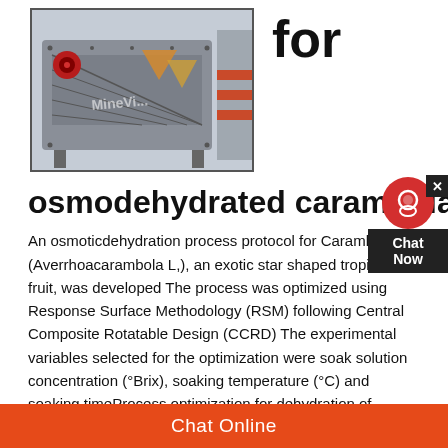[Figure (photo): Industrial mining/vibrating screen machine (MineVi brand) in a warehouse/factory setting, gray and orange colored machine]
for
osmodehydrated carambola
An osmoticdehydration process protocol for Carambola (Averrhoacarambola L,), an exotic star shaped tropical fruit, was developed The process was optimized using Response Surface Methodology (RSM) following Central Composite Rotatable Design (CCRD) The experimental variables selected for the optimization were soak solution concentration (°Brix), soaking temperature (°C) and soaking timeProcess optimization for dehydration of shelled peas by osmosis and three-stage convective drying for enhanced quality @article{Kaur2020ProcessOF,
Chat Now
Chat Online